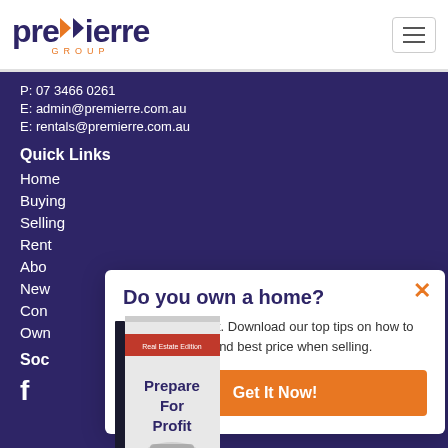premierre GROUP
P: 07 3466 0261
E: admin@premierre.com.au
E: rentals@premierre.com.au
Quick Links
Home
Buying
Selling
Rent
About
News
Contact
Own
Social
[Figure (other): Facebook icon]
[Figure (other): Book cover showing 'Prepare For Profit' Real Estate Edition]
Do you own a home?
Prepare for profit. Download our top tips on how to get the highest and best price when selling.
Get It Now!